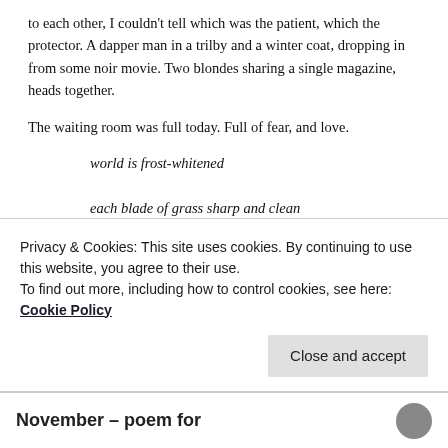to each other, I couldn't tell which was the patient, which the protector. A dapper man in a trilby and a winter coat, dropping in from some noir movie. Two blondes sharing a single magazine, heads together.
The waiting room was full today. Full of fear, and love.
world is frost-whitened
each blade of grass sharp and clean
waiting for sunrise
Imelda is keeping the bar at dVerse tonight. It's haibun
Privacy & Cookies: This site uses cookies. By continuing to use this website, you agree to their use.
To find out more, including how to control cookies, see here: Cookie Policy
November – poem for